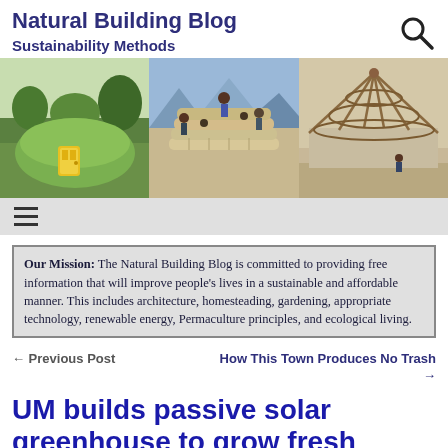Natural Building Blog
Sustainability Methods
[Figure (photo): Three-panel hero image: left panel shows a green earthen mound structure with a yellow door; center panel shows people constructing a sandbag/earthbag building; right panel shows a wooden roof frame structure under construction.]
Our Mission: The Natural Building Blog is committed to providing free information that will improve people's lives in a sustainable and affordable manner. This includes architecture, homesteading, gardening, appropriate technology, renewable energy, Permaculture principles, and ecological living.
← Previous Post
How This Town Produces No Trash →
UM builds passive solar greenhouse to grow fresh veggies year-round
Posted on January 30, 2016 by Owen Geiger